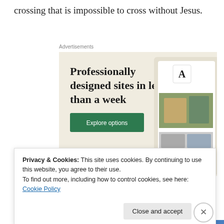crossing that is impossible to cross without Jesus.
Advertisements
[Figure (screenshot): Advertisement for Squarespace or similar web design service showing 'Professionally designed sites in less than a week' with an 'Explore options' button and device mockup images.]
Privacy & Cookies: This site uses cookies. By continuing to use this website, you agree to their use.
To find out more, including how to control cookies, see here: Cookie Policy
Advertisements